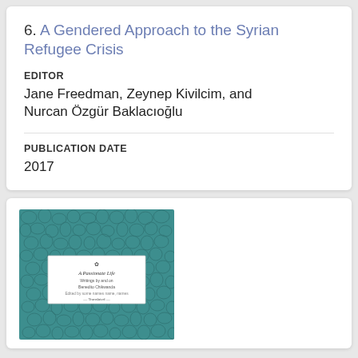6. A Gendered Approach to the Syrian Refugee Crisis
EDITOR
Jane Freedman, Zeynep Kivilcim, and Nurcan Özgür Baklacıoğlu
PUBLICATION DATE
2017
[Figure (photo): Book cover of 'A Passionate Life' with teal/turquoise patterned background and white label in center]